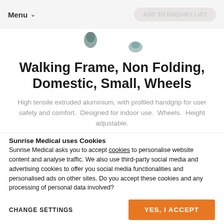Menu
[Figure (photo): Partial product images showing walking frame handles/tops, two items visible against white background]
Walking Frame, Non Folding, Domestic, Small, Wheels
High tensile extruded aluminium, with profiled handgrip for user safety and comfort.  Designed for indoor use.  Wheels.  Height adjustable.
Sunrise Medical uses Cookies
Sunrise Medical asks you to accept cookies to personalise website content and analyse traffic. We also use third-party social media and advertising cookies to offer you social media functionalities and personalised ads on other sites. Do you accept these cookies and any processing of personal data involved?
CHANGE SETTINGS   YES, I ACCEPT